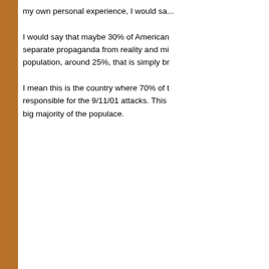my own personal experience, I would sa...
I would say that maybe 30% of Americans can separate propaganda from reality and mi... population, around 25%, that is simply br...
I mean this is the country where 70% of t... responsible for the 9/11/01 attacks. This ... big majority of the populace.
11-13-2010, 09:58 AM
[Figure (illustration): Troll face meme illustration - black and white cartoon face with mischievous grin]
forum troll
Professional
Quote:
First of all Mexico and other states or is... part of USA).
Mexico and Central America are part of N... countries are not in North America, but th...